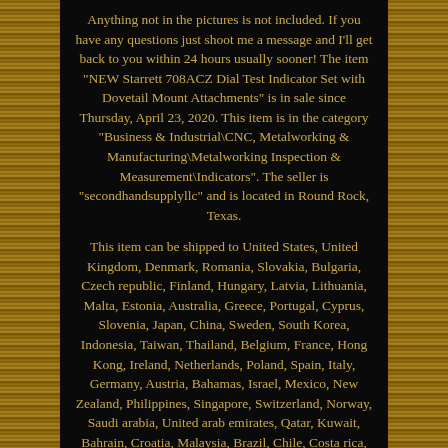Anything not in the pictures is not included. If you have any questions just shoot me a message and I'll get back to you within 24 hours usually sooner! The item "NEW Starrett 708ACZ Dial Test Indicator Set with Dovetail Mount Attachments" is in sale since Thursday, April 23, 2020. This item is in the category "Business & Industrial\CNC, Metalworking & Manufacturing\Metalworking Inspection & Measurement\Indicators". The seller is "secondhandsupplyllc" and is located in Round Rock, Texas.
This item can be shipped to United States, United Kingdom, Denmark, Romania, Slovakia, Bulgaria, Czech republic, Finland, Hungary, Latvia, Lithuania, Malta, Estonia, Australia, Greece, Portugal, Cyprus, Slovenia, Japan, China, Sweden, South Korea, Indonesia, Taiwan, Thailand, Belgium, France, Hong Kong, Ireland, Netherlands, Poland, Spain, Italy, Germany, Austria, Bahamas, Israel, Mexico, New Zealand, Philippines, Singapore, Switzerland, Norway, Saudi arabia, United arab emirates, Qatar, Kuwait, Bahrain, Croatia, Malaysia, Brazil, Chile, Costa rica, Panama, Trinidad and tobago, Guatemala, Honduras, Jamaica, Aruba, Belize, Dominica, Grenada, Saint kitts and nevis, Turks and caicos islands, Bangladesh, Brunei darussalam, Bolivia, Ecuador, Egypt, French guiana, Guernsey, Gibraltar, Guadeloupe, Iceland, Jersey, Jordan, Cambodia, Liechtenstein, Luxembourg, Monaco, Macao, Martinique, Nicaragua, Peru, Pakistan, Paraguay, Viet nam, Uruguay, Canada, South africa, Colombia,